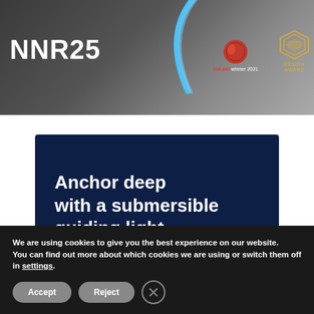[Figure (photo): Banner image showing NNR25 product with blue arc light, red dot winner 2021 badge and Design Award logo on dark/grey background]
[Figure (illustration): Dark navy blue card with bold white text reading 'Anchor deep with a submersible guiding light']
We are using cookies to give you the best experience on our website.
You can find out more about which cookies we are using or switch them off in settings.